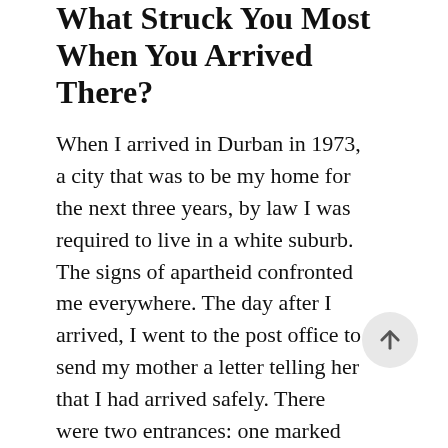What Struck You Most When You Arrived There?
When I arrived in Durban in 1973, a city that was to be my home for the next three years, by law I was required to live in a white suburb. The signs of apartheid confronted me everywhere. The day after I arrived, I went to the post office to send my mother a letter telling her that I had arrived safely. There were two entrances: one marked ‘Whites only’ and the other saying ‘Non-whites’. I then went to explore a nearby beach where I quickly realised that the sea was divided by